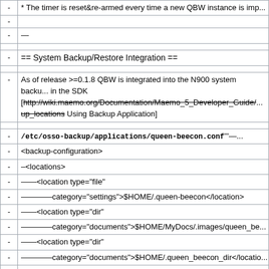| - | content |
| --- | --- |
| - | * The timer is reset&re-armed every time a new QBW instance is imp... |
| - | — |
| - | == System Backup/Restore Integration == |
| - | As of release >=0.1.8 QBW is integrated into the N900 system backup... in the SDK [http://wiki.maemo.org/Documentation/Maemo_5_Developer_Guide/... up_locations Using Backup Application] |
| - | '''<code>/etc/osso-backup/applications/queen-beecon.conf</code>'''... |
| - | <backup-configuration> |
| - | –<locations> |
| - | ——<location type="file" |
| - | ————category="settings">$HOME/.queen-beecon</location> |
| - | ——<location type="dir" |
| - | ————category="documents">$HOME/MyDocs/.images/queen_be... |
| - | ——<location type="dir" |
| - | ————category="documents">$HOME/.queen_beecon_dir</location> |
| - | –</locations> |
| - | </backup-configuration> |
| - | — |
| - |  |